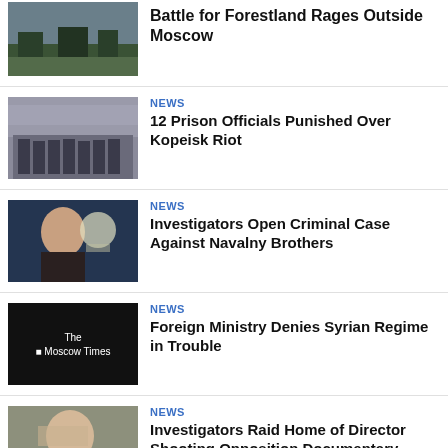[Figure (photo): Aerial/outdoor photo related to Forestland near Moscow]
Battle for Forestland Rages Outside Moscow
[Figure (photo): Photo of prison officials or officers in formation]
NEWS
12 Prison Officials Punished Over Kopeisk Riot
[Figure (photo): Photo of Navalny speaking at a podium]
NEWS
Investigators Open Criminal Case Against Navalny Brothers
[Figure (logo): The Moscow Times logo on black background]
NEWS
Foreign Ministry Denies Syrian Regime in Trouble
[Figure (photo): Photo of documentary director]
NEWS
Investigators Raid Home of Director Shooting Opposition Documentary